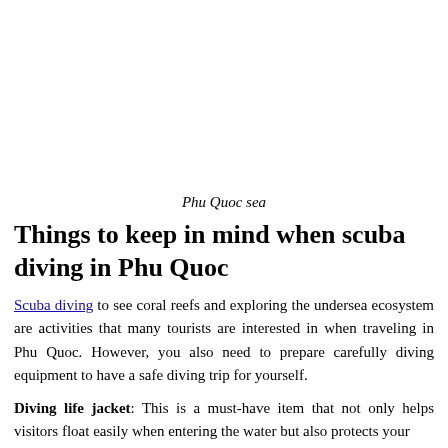[Figure (photo): Image of Phu Quoc sea (white/blank area representing photo)]
Phu Quoc sea
Things to keep in mind when scuba diving in Phu Quoc
Scuba diving to see coral reefs and exploring the undersea ecosystem are activities that many tourists are interested in when traveling in Phu Quoc. However, you also need to prepare carefully diving equipment to have a safe diving trip for yourself.
Diving life jacket: This is a must-have item that not only helps visitors float easily when entering the water but also protects your